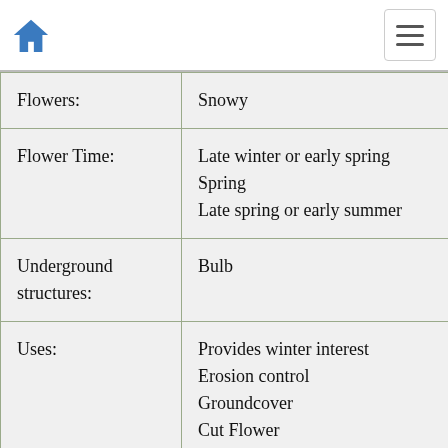Home | Menu
| Flowers: | Snowy |
| Flower Time: | Late winter or early spring
Spring
Late spring or early summer |
| Underground structures: | Bulb |
| Uses: | Provides winter interest
Erosion control
Groundcover
Cut Flower
Will Naturalize |
| Wildlife Attractant: | Bees
Butterflies |